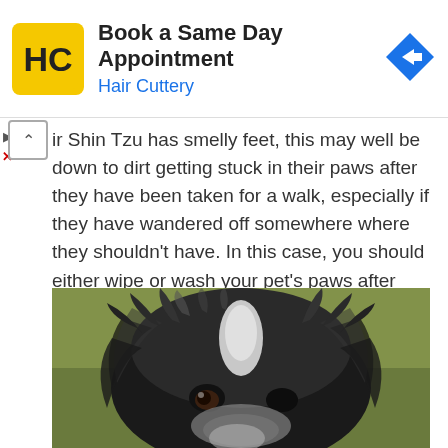[Figure (infographic): Hair Cuttery advertisement banner with yellow HC logo, 'Book a Same Day Appointment' heading, 'Hair Cuttery' subtitle in blue, and a blue diamond direction arrow icon on the right.]
ir Shin Tzu has smelly feet, this may well be down to dirt getting stuck in their paws after they have been taken for a walk, especially if they have wandered off somewhere where they shouldn't have. In this case, you should either wipe or wash your pet's paws after every walk to ensure they are clean.
[Figure (photo): Close-up photograph of a black and white Shih Tzu dog face looking at the camera, with fluffy fur and a white stripe on the forehead.]